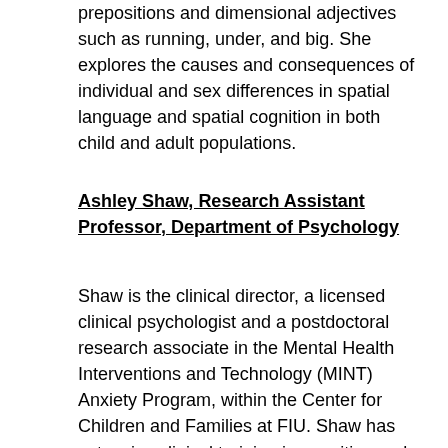prepositions and dimensional adjectives such as running, under, and big. She explores the causes and consequences of individual and sex differences in spatial language and spatial cognition in both child and adult populations.
Ashley Shaw, Research Assistant Professor, Department of Psychology
Shaw is the clinical director, a licensed clinical psychologist and a postdoctoral research associate in the Mental Health Interventions and Technology (MINT) Anxiety Program, within the Center for Children and Families at FIU. Shaw has extensive clinical training in cognitive and behavioral treatments for children and adults, with a special emphasis on emotional disorders, including anxiety, obsessive-compulsive disorder (and related conditions) and depression.